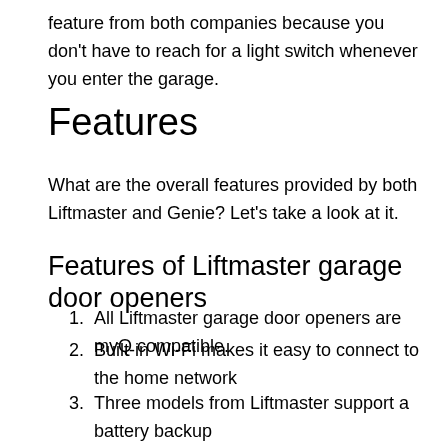feature from both companies because you don't have to reach for a light switch whenever you enter the garage.
Features
What are the overall features provided by both Liftmaster and Genie? Let's take a look at it.
Features of Liftmaster garage door openers
All Liftmaster garage door openers are myQ compatible.
Built-in Wi-Fi makes it easy to connect to the home network
Three models from Liftmaster support a battery backup
HomeLink and Car2U means you can control the opener from your vehicle
Maintenance Alert system notifies homeowners to